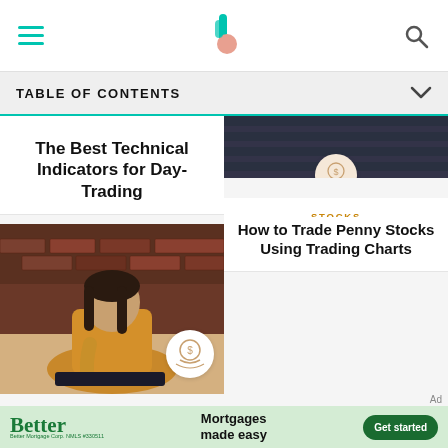TABLE OF CONTENTS
DAY TRADING
The Best Technical Indicators for Day-Trading
[Figure (photo): Young Asian woman in yellow sweater working on tablet at desk]
STOCKS
How to Trade Penny Stocks Using Trading Charts
[Figure (photo): Woman with glasses at trading desk in office]
COMMODITIES
The Types of
[Figure (advertisement): Better Mortgage advertisement: Mortgages made easy, Get started button]